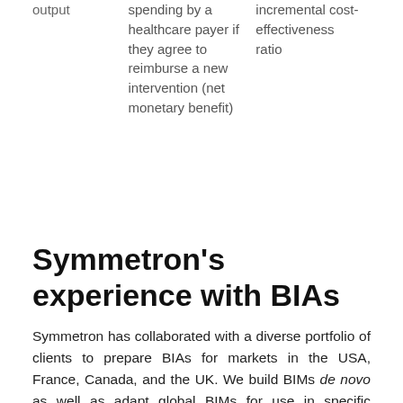| output | spending by a healthcare payer if they agree to reimburse a new intervention (net monetary benefit) | incremental cost-effectiveness ratio |
Symmetron's experience with BIAs
Symmetron has collaborated with a diverse portfolio of clients to prepare BIAs for markets in the USA, France, Canada, and the UK. We build BIMs de novo as well as adapt global BIMs for use in specific countries. Two examples of BIAs where we played a